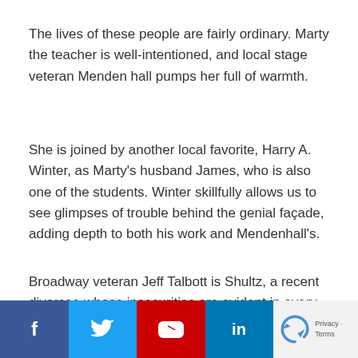The lives of these people are fairly ordinary. Marty the teacher is well-intentioned, and local stage veteran Menden hall pumps her full of warmth.
She is joined by another local favorite, Harry A. Winter, as Marty's husband James, who is also one of the students. Winter skillfully allows us to see glimpses of trouble behind the genial façade, adding depth to both his work and Mendenhall's.
Broadway veteran Jeff Talbott is Shultz, a recent divorcee whose insecurities are evident in every awkward attempt at bonhomie and in each forced smile.
New to town from New York is Kathleen McElfresh, who plays Theresa, a former New Yorkactress who has washed up in Vermont. McElfresh layers in damaged self-esteem just belo… alm… amaged